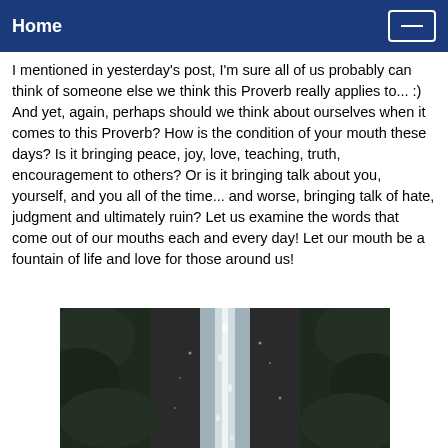Home
I mentioned in yesterday's post, I'm sure all of us probably can think of someone else we think this Proverb really applies to... :)  And yet, again, perhaps should we think about ourselves when it comes to this Proverb?  How is the condition of your mouth these days?  Is it bringing peace, joy, love, teaching, truth, encouragement to others?  Or is it bringing talk about you, yourself, and you all of the time... and worse, bringing talk of hate, judgment and ultimately ruin?  Let us examine the words that come out of our mouths each and every day!  Let our mouth be a fountain of life and love for those around us!
[Figure (photo): A photograph of a water fountain or stream of water flowing downward, with dark foliage in the background.]